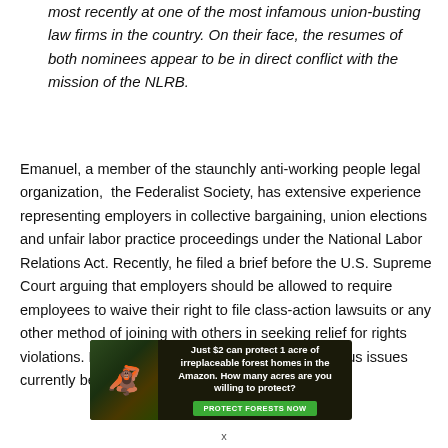most recently at one of the most infamous union-busting law firms in the country. On their face, the resumes of both nominees appear to be in direct conflict with the mission of the NLRB.
Emanuel, a member of the staunchly anti-working people legal organization, the Federalist Society, has extensive experience representing employers in collective bargaining, union elections and unfair labor practice proceedings under the National Labor Relations Act. Recently, he filed a brief before the U.S. Supreme Court arguing that employers should be allowed to require employees to waive their right to file class-action lawsuits or any other method of joining with others in seeking relief for rights violations. Emanuel has directly worked on numerous issues currently before the NLRB, raising serious
[Figure (infographic): Advertisement banner: forest conservation ad showing an orangutan in a jungle background. Text reads: 'Just $2 can protect 1 acre of irreplaceable forest homes in the Amazon. How many acres are you willing to protect?' with a green 'PROTECT FORESTS NOW' button.]
x